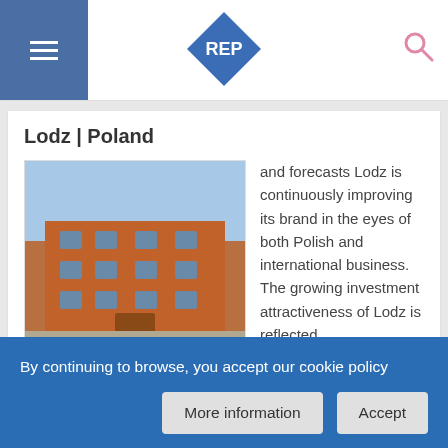REP
Lodz | Poland
[Figure (photo): Red brick building in Lodz, Poland]
and forecasts Lodz is continuously improving its brand in the eyes of both Polish and international business. The growing investment attractiveness of Lodz is reflected ...
Bucharest | Romania
[Figure (photo): Partial image of Bucharest]
According to the latest Bucharest City Report
By continuing to browse, you accept our cookie policy